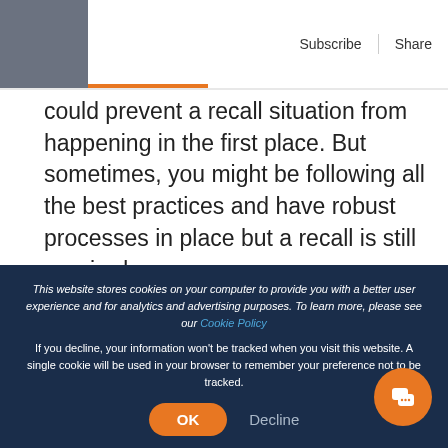Subscribe | Share
could prevent a recall situation from happening in the first place. But sometimes, you might be following all the best practices and have robust processes in place but a recall is still required.
[Figure (photo): Blurred photo of warehouse shelves or boxes with people in the background]
This website stores cookies on your computer to provide you with a better user experience and for analytics and advertising purposes. To learn more, please see our Cookie Policy
If you decline, your information won't be tracked when you visit this website. A single cookie will be used in your browser to remember your preference not to be tracked.